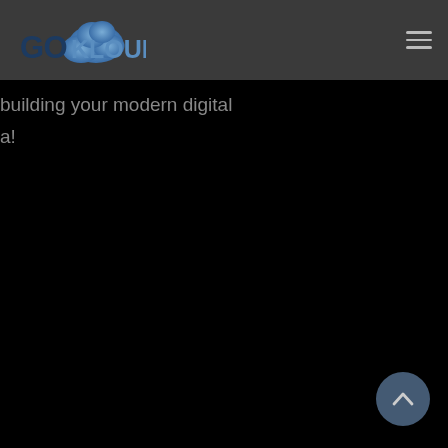[Figure (logo): GoKloud logo with cloud icon and stylized text]
building your modern digital
a!
[Figure (other): Back to top chevron button, circular blue-grey button at bottom right]